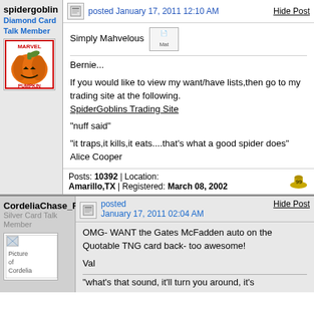spidergoblin
Diamond Card Talk Member
posted January 17, 2011 12:10 AM
Hide Post
Simply Mahvelous

Bernie...

If you would like to view my want/have lists,then go to my trading site at the following.
SpiderGoblins Trading Site

"nuff said"

"it traps,it kills,it eats....that's what a good spider does"
Alice Cooper
Posts: 10392 | Location: Amarillo,TX | Registered: March 08, 2002
CordeliaChase_Fan
Silver Card Talk Member
posted January 17, 2011 02:04 AM
Hide Post
OMG- WANT the Gates McFadden auto on the Quotable TNG card back- too awesome!

Val
"what's that sound, it'll turn you around, it's